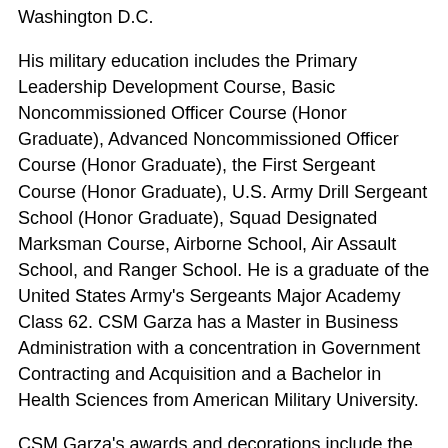Washington D.C.
His military education includes the Primary Leadership Development Course, Basic Noncommissioned Officer Course (Honor Graduate), Advanced Noncommissioned Officer Course (Honor Graduate), the First Sergeant Course (Honor Graduate), U.S. Army Drill Sergeant School (Honor Graduate), Squad Designated Marksman Course, Airborne School, Air Assault School, and Ranger School. He is a graduate of the United States Army's Sergeants Major Academy Class 62. CSM Garza has a Master in Business Administration with a concentration in Government Contracting and Acquisition and a Bachelor in Health Sciences from American Military University.
CSM Garza's awards and decorations include the Legion of Merit (3rd Award); Bronze Star Medal; Meritorious Service Medal (2nd Award); Army Commendation Medal (3rd Award); Joint Service Achievement Medal; Army Achievement Medal (7th Award); Army Good Conduct Medal (8th Award); National Defense Service Medal; Korean Defense Service Medal; Joint Meritorious Unit...